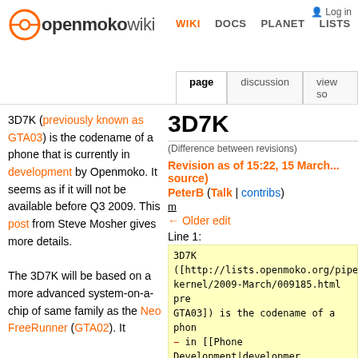openmokowiki — WIKI | DOCS | PLANET | LISTS | Log in
3D7K (previously known as GTA03) is the codename of a phone that is currently in development by Openmoko. It seems as if it will not be available before Q3 2009. This post from Steve Mosher gives more details.

The 3D7K will be based on a more advanced system-on-a-chip of same family as the Neo FreeRunner (GTA02). It
3D7K
(Difference between revisions)
Revision as of 15:22, 15 March... source) PeterB (Talk | contribs) m ← Older edit
Line 1:
3D7K ([http://lists.openmoko.org/pipermail/kernel/2009-March/009185.html prev... GTA03]) is the codename of a phone — in [[Phone Development|development]] Openmoko. It seems as if it will not be before Q3 2009. This [http://n2.nabb...